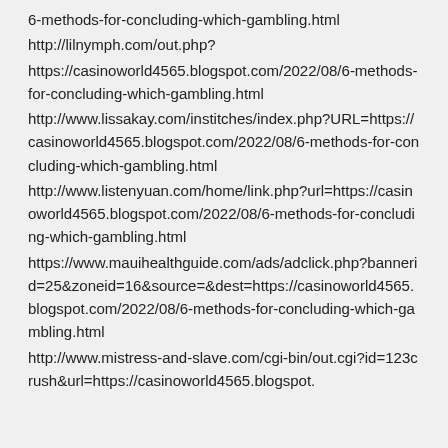6-methods-for-concluding-which-gambling.html
http://lilnymph.com/out.php?
https://casinoworld4565.blogspot.com/2022/08/6-methods-for-concluding-which-gambling.html
http://www.lissakay.com/institches/index.php?URL=https://casinoworld4565.blogspot.com/2022/08/6-methods-for-concluding-which-gambling.html
http://www.listenyuan.com/home/link.php?url=https://casinoworld4565.blogspot.com/2022/08/6-methods-for-concluding-which-gambling.html
https://www.mauihealthguide.com/ads/adclick.php?bannerid=25&zoneid=16&source=&dest=https://casinoworld4565.blogspot.com/2022/08/6-methods-for-concluding-which-gambling.html
http://www.mistress-and-slave.com/cgi-bin/out.cgi?id=123crush&url=https://casinoworld4565.blogspot.